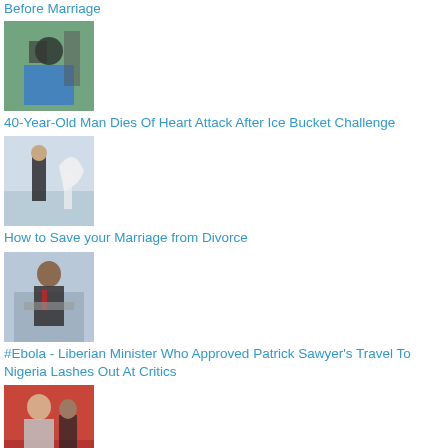Before Marriage
[Figure (photo): Ice bucket challenge photo - man being doused with water]
40-Year-Old Man Dies Of Heart Attack After Ice Bucket Challenge
[Figure (photo): Wedding photo - man and woman in wedding attire]
How to Save your Marriage from Divorce
[Figure (photo): Man in suit speaking at a podium with microphone]
#Ebola - Liberian Minister Who Approved Patrick Sawyer's Travel To Nigeria Lashes Out At Critics
[Figure (photo): Woman in formal attire at film awards event]
Did Kristen Stewart Have 'Nip Slip' At Hollywood Film Awards? Photos + Video